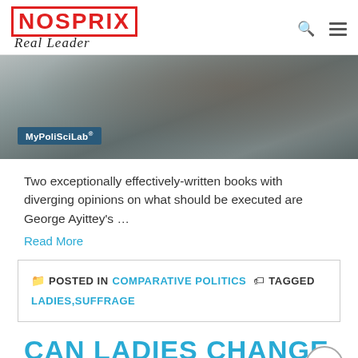NOSPRIX Real Leader
[Figure (photo): Book cover image with MyPoliSciLab label overlay, dark grey/brown tones]
Two exceptionally effectively-written books with diverging opinions on what should be executed are George Ayittey's …
Read More
POSTED IN COMPARATIVE POLITICS  TAGGED LADIES,SUFFRAGE
CAN LADIES CHANGE THE